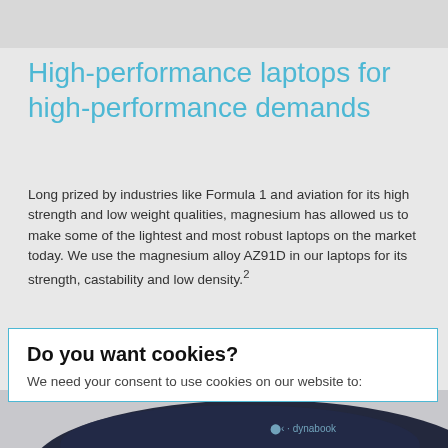High-performance laptops for high-performance demands
Long prized by industries like Formula 1 and aviation for its high strength and low weight qualities, magnesium has allowed us to make some of the lightest and most robust laptops on the market today. We use the magnesium alloy AZ91D in our laptops for its strength, castability and low density.²
Do you want cookies?
We need your consent to use cookies on our website to:
[Figure (photo): Bottom portion of a dark navy Dynabook laptop showing the Dynabook logo on the lid, photographed at an angle against a gray background.]